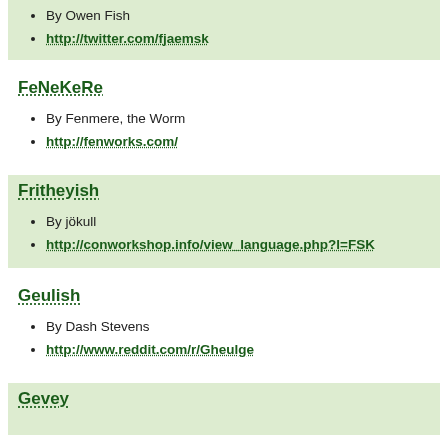By Owen Fish
http://twitter.com/fjaemsk
FeNeKeRe
By Fenmere, the Worm
http://fenworks.com/
Fritheyish
By jökull
http://conworkshop.info/view_language.php?l=FSK
Geulish
By Dash Stevens
http://www.reddit.com/r/Gheulge
Gevey